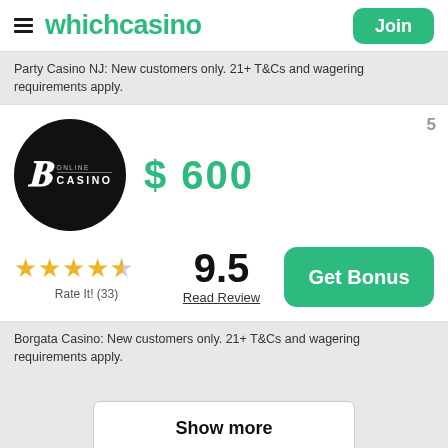whichcasino | Join
Party Casino NJ: New customers only. 21+ T&Cs and wagering requirements apply.
5
$ 600
★★★★½ Rate It! (33)
9.5 Read Review
Get Bonus
Borgata Casino: New customers only. 21+ T&Cs and wagering requirements apply.
Show more